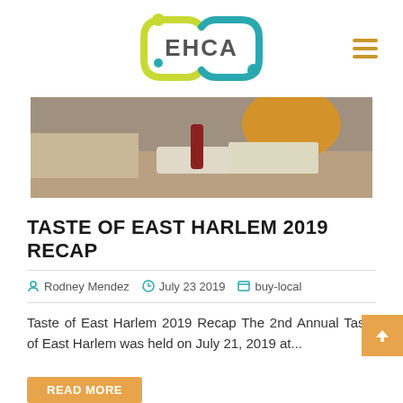[Figure (logo): EHCA logo with teal and yellow-green geometric chain-link shapes around the text EHCA]
[Figure (photo): A food event table with people gathering around food trays, bottles of hot sauce, and various dishes at the Taste of East Harlem event]
TASTE OF EAST HARLEM 2019 RECAP
Rodney Mendez   July 23 2019   buy-local
Taste of East Harlem 2019 Recap The 2nd Annual Taste of East Harlem was held on July 21, 2019 at...